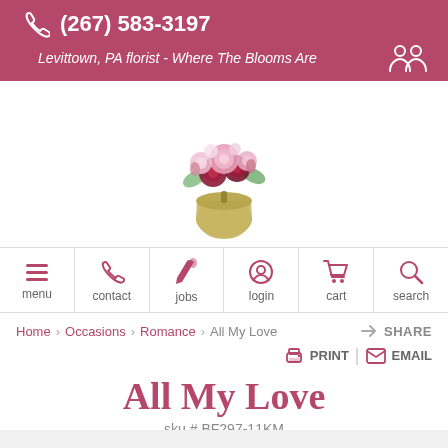(267) 583-3197  Levittown, PA florist - Where The Blooms Are
[Figure (logo): Floral arrangement logo: bouquet of pink and dark red roses in a gold acorn-shaped vase]
menu  contact  jobs  login  cart  search
Home  Occasions  Romance  All My Love  SHARE  PRINT  EMAIL
All My Love
sku # BF297-11KM